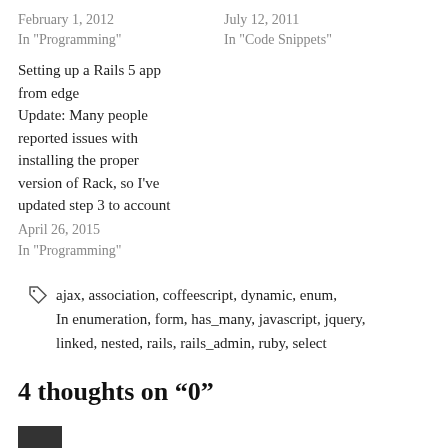February 1, 2012
In "Programming"
July 12, 2011
In "Code Snippets"
Setting up a Rails 5 app from edge
Update: Many people reported issues with installing the proper version of Rack, so I've updated step 3 to account
April 26, 2015
In "Programming"
ajax, association, coffeescript, dynamic, enum, In enumeration, form, has_many, javascript, jquery, linked, nested, rails, rails_admin, ruby, select
4 thoughts on “0”